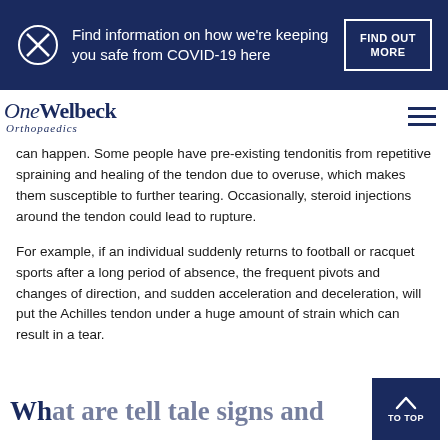Find information on how we're keeping you safe from COVID-19 here | FIND OUT MORE
[Figure (logo): OneWelbeck Orthopaedics logo with hamburger menu icon]
can happen. Some people have pre-existing tendonitis from repetitive spraining and healing of the tendon due to overuse, which makes them susceptible to further tearing. Occasionally, steroid injections around the tendon could lead to rupture.
For example, if an individual suddenly returns to football or racquet sports after a long period of absence, the frequent pivots and changes of direction, and sudden acceleration and deceleration, will put the Achilles tendon under a huge amount of strain which can result in a tear.
Wh...